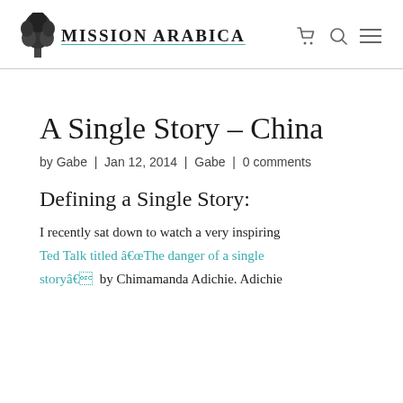MISSION ARABICA
A Single Story – China
by Gabe | Jan 12, 2014 | Gabe | 0 comments
Defining a Single Story:
I recently sat down to watch a very inspiring Ted Talk titled â€œThe danger of a single storyâ€ by Chimamanda Adichie. Adichie